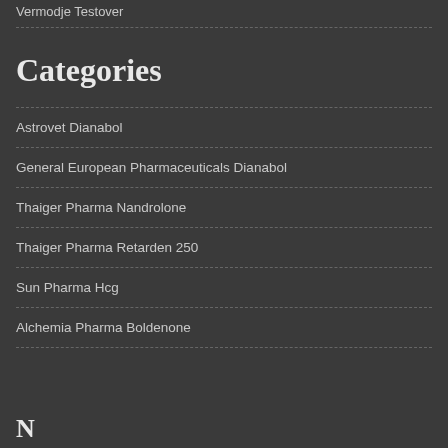Vermodje Testover
Categories
Astrovet Dianabol
General European Pharmaceuticals Dianabol
Thaiger Pharma Nandrolone
Thaiger Pharma Retarden 250
Sun Pharma Hcg
Alchemia Pharma Boldenone
N...